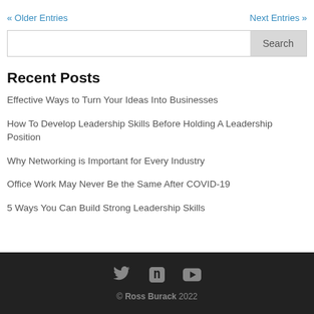« Older Entries    Next Entries »
Search
Recent Posts
Effective Ways to Turn Your Ideas Into Businesses
How To Develop Leadership Skills Before Holding A Leadership Position
Why Networking is Important for Every Industry
Office Work May Never Be the Same After COVID-19
5 Ways You Can Build Strong Leadership Skills
© Ross Burack 2022